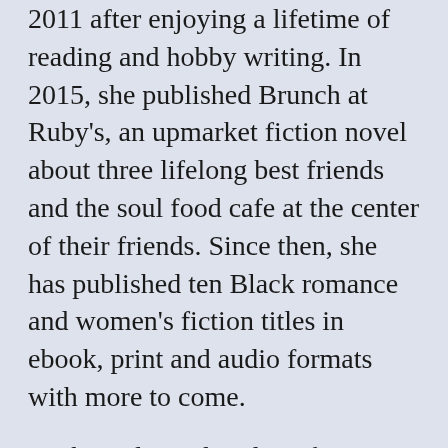2011 after enjoying a lifetime of reading and hobby writing. In 2015, she published Brunch at Ruby's, an upmarket fiction novel about three lifelong best friends and the soul food cafe at the center of their friends. Since then, she has published ten Black romance and women's fiction titles in ebook, print and audio formats with more to come.
DL has a legendary love for coffee, fried chicken, and brunch, especially on a patio. Her true obsession is water: lakes, rivers, oceans, waterfalls! When not writing books, she devours them. She publishes reviews and thoughts on writing and books on the blog and publishes short fiction on her podcast.
DL lives in Atlanta, Georgia.